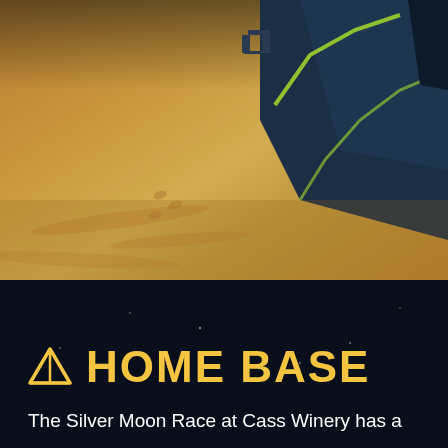[Figure (photo): Outdoor camping scene showing sandy ground with tire tracks and a dark blue tent with lime green accents in the upper right corner. Camping chairs are visible near the tent.]
🏕 HOME BASE
The Silver Moon Race at Cass Winery has a